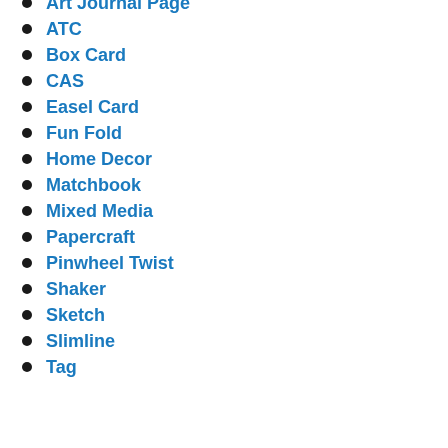Art Journal Page
ATC
Box Card
CAS
Easel Card
Fun Fold
Home Decor
Matchbook
Mixed Media
Papercraft
Pinwheel Twist
Shaker
Sketch
Slimline
Tag